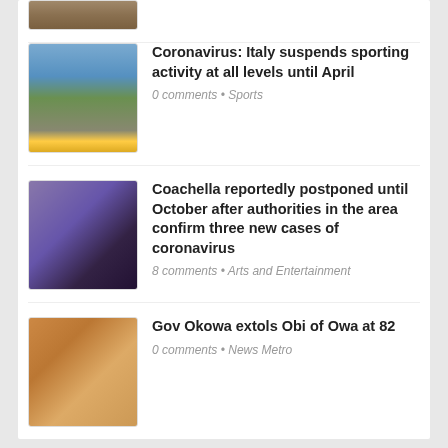[Figure (photo): Partial thumbnail image at top of news list]
Coronavirus: Italy suspends sporting activity at all levels until April — 0 comments • Sports
[Figure (photo): Stadium photo thumbnail for Italy sports article]
Coachella reportedly postponed until October after authorities in the area confirm three new cases of coronavirus — 8 comments • Arts and Entertainment
[Figure (photo): Performer photo thumbnail for Coachella article]
Gov Okowa extols Obi of Owa at 82 — 0 comments • News Metro
[Figure (photo): People photo thumbnail for Gov Okowa article]
CATEGORIES
Accidents (66)
Arts and Entertainment (3692)
Business and Economy (25)
Corona Virus (6)
Education (122)
Fashion (27)